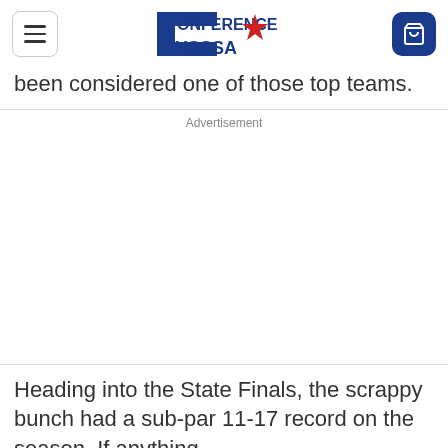Conference USSSA
been considered one of those top teams.
Advertisement
Heading into the State Finals, the scrappy bunch had a sub-par 11-17 record on the season. If anything,